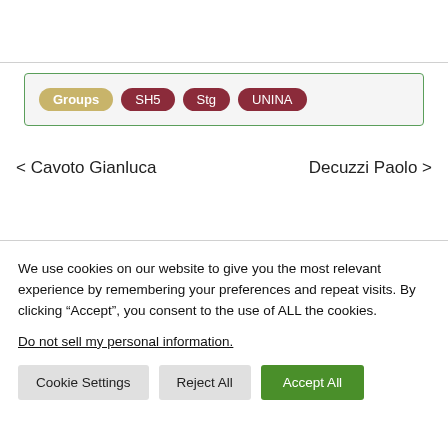Groups  SH5  Stg  UNINA
< Cavoto Gianluca
Decuzzi Paolo >
We use cookies on our website to give you the most relevant experience by remembering your preferences and repeat visits. By clicking “Accept”, you consent to the use of ALL the cookies.
Do not sell my personal information.
Cookie Settings  Reject All  Accept All